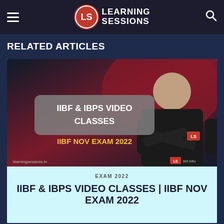Learning Sessions
RELATED ARTICLES
[Figure (screenshot): Promotional thumbnail for IIBF & IBPS Video Classes showing a man in black jacket against dark red background. Text overlay reads 'IIBF & IBPS VIDEO CLASSES' and 'IIBF NOV EXAM 2022'. Watermarks: learningsessions.in and LS iibf.info]
EXAM 2022
IIBF & IBPS VIDEO CLASSES | IIBF NOV EXAM 2022